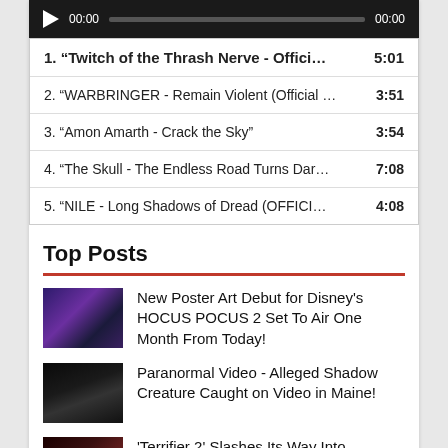[Figure (other): Audio player bar with play button, time 00:00, progress bar, and end time 00:00 on dark background]
1. “Twitch of the Thrash Nerve - Offici… 5:01
2. “WARBRINGER - Remain Violent (Official … 3:51
3. “Amon Amarth - Crack the Sky” 3:54
4. “The Skull - The Endless Road Turns Dar… 7:08
5. “NILE - Long Shadows of Dread (OFFICI… 4:08
Top Posts
New Poster Art Debut for Disney's HOCUS POCUS 2 Set To Air One Month From Today!
Paranormal Video - Alleged Shadow Creature Caught on Video in Maine!
'Terrifier 2' Slashes Its Way Into Theaters October 6